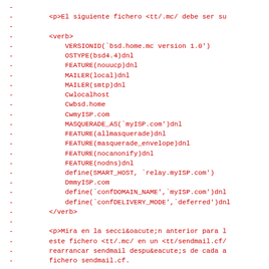- 
- <p>El siguiente fichero <tt/.mc/ debe ser su
-
- <verb>
-     VERSIONID(`bsd.home.mc version 1.0')
-     OSTYPE(bsd4.4)dnl
-     FEATURE(nouucp)dnl
-     MAILER(local)dnl
-     MAILER(smtp)dnl
-     Cwlocalhost
-     Cwbsd.home
-     CwmyISP.com
-     MASQUERADE_AS(`myISP.com')dnl
-     FEATURE(allmasquerade)dnl
-     FEATURE(masquerade_envelope)dnl
-     FEATURE(nocanonify)dnl
-     FEATURE(nodns)dnl
-     define(SMART_HOST, `relay.myISP.com')
-     DmmyISP.com
-     define(`confDOMAIN_NAME',`myISP.com')dnl
-     define(`confDELIVERY_MODE',`deferred')dnl
- </verb>
-
- <p>Mira en la secci&oacute;n anterior para l
- este fichero <tt/.mc/ en un <tt/sendmail.cf/
- rearrancar sendmail despu&eacute;s de cada a
- fichero sendmail.cf.
-
- <sect1>
- <heading>Olvid&eacute; el password de Root